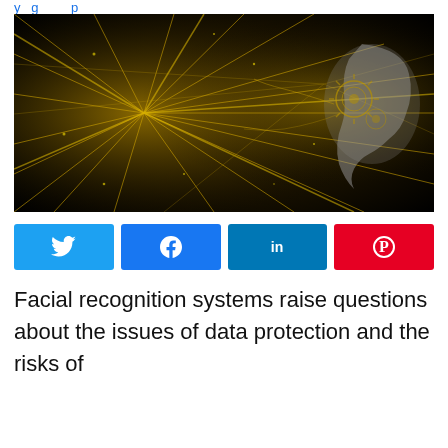y g p
[Figure (illustration): Abstract golden neural network with glowing threads and a human face profile in silver tones on dark background, representing AI and facial recognition technology]
[Figure (infographic): Social share buttons row: Twitter (light blue), Facebook (blue), LinkedIn (dark blue), Pinterest (red), each with respective icons]
Facial recognition systems raise questions about the issues of data protection and the risks of